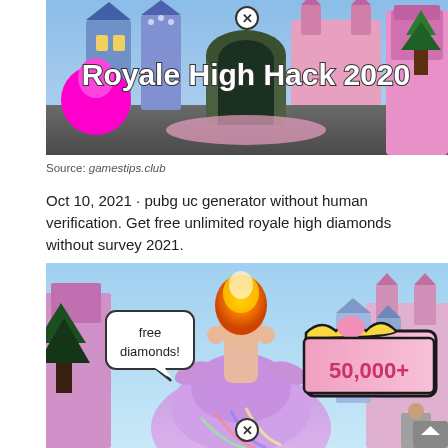[Figure (screenshot): Screenshot of a Royale High game scene with colorful castles and text overlay reading 'Royale High Hack 2020' in white bold letters, with an X close button at the top center]
Source: gamestips.club
Oct 10, 2021 · pubg uc generator without human verification. Get free unlimited royale high diamonds without survey 2021.
[Figure (screenshot): Screenshot of Royale High game showing a princess character in a large purple dress with 'free diamonds!' speech bubble and '50,000+' displayed on a pink banner, with an X close button at the bottom center]